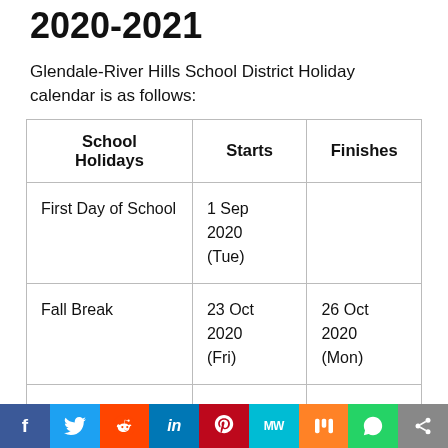2020-2021
Glendale-River Hills School District Holiday calendar is as follows:
| School Holidays | Starts | Finishes |
| --- | --- | --- |
| First Day of School | 1 Sep 2020 (Tue) |  |
| Fall Break | 23 Oct 2020 (Fri) | 26 Oct 2020 (Mon) |
| Thanksgiving | 25 Nov 2020 | 27 Nov 2020 |
f  Twitter  Reddit  in  Pinterest  MW  Mix  WhatsApp  Share